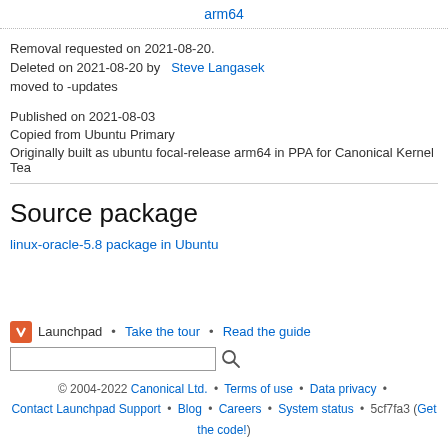arm64
Removal requested on 2021-08-20.
Deleted on 2021-08-20 by Steve Langasek moved to -updates
Published on 2021-08-03
Copied from Ubuntu Primary
Originally built as ubuntu focal-release arm64 in PPA for Canonical Kernel Tea
Source package
linux-oracle-5.8 package in Ubuntu
Launchpad • Take the tour • Read the guide
© 2004-2022 Canonical Ltd. • Terms of use • Data privacy • Contact Launchpad Support • Blog • Careers • System status • 5cf7fa3 (Get the code!)